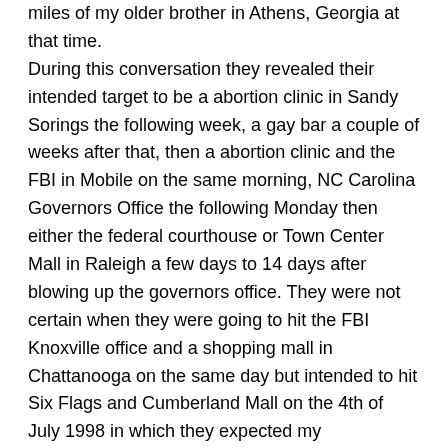miles of my older brother in Athens, Georgia at that time. During this conversation they revealed their intended target to be a abortion clinic in Sandy Sorings the following week, a gay bar a couple of weeks after that, then a abortion clinic and the FBI in Mobile on the same morning, NC Carolina Governors Office the following Monday then either the federal courthouse or Town Center Mall in Raleigh a few days to 14 days after blowing up the governors office. They were not certain when they were going to hit the FBI Knoxville office and a shopping mall in Chattanooga on the same day but intended to hit Six Flags and Cumberland Mall on the 4th of July 1998 in which they expected my cooperation in helping them personally help